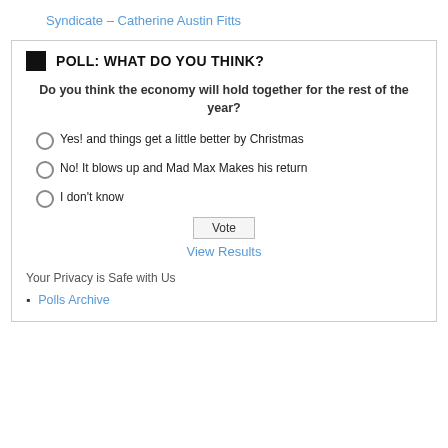Syndicate – Catherine Austin Fitts
POLL: WHAT DO YOU THINK?
Do you think the economy will hold together for the rest of the year?
Yes! and things get a little better by Christmas
No! It blows up and Mad Max Makes his return
I don't know
Vote
View Results
Your Privacy is Safe with Us
Polls Archive